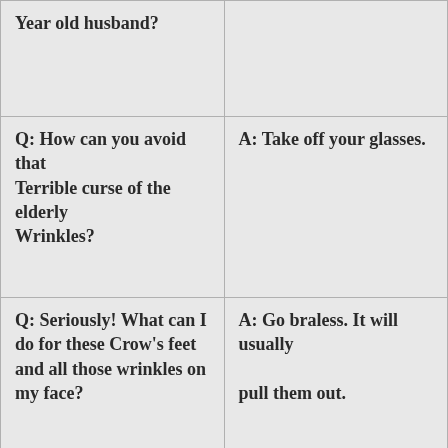| Year old husband? |  |
| Q: How can you avoid that
Terrible curse of the elderly
Wrinkles? | A: Take off your glasses. |
| Q: Seriously! What can I do for these Crow's feet and all those wrinkles on my face? | A: Go braless. It will usually

pull them out. |
| Q: Why should 60-plus year old people use valet parking? | A: Valets don't forget

where they park your car. |